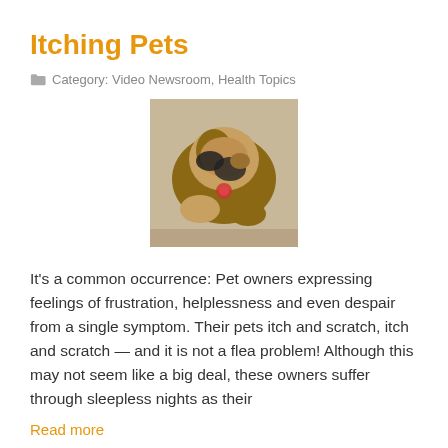Itching Pets
Category: Video Newsroom, Health Topics
[Figure (photo): A dog scratching or licking itself, viewed from above, with a tag on its collar, on a carpet or floor.]
It's a common occurrence: Pet owners expressing feelings of frustration, helplessness and even despair from a single symptom. Their pets itch and scratch, itch and scratch — and it is not a flea problem! Although this may not seem like a big deal, these owners suffer through sleepless nights as their
Read more
High Blood Pressure in Dogs